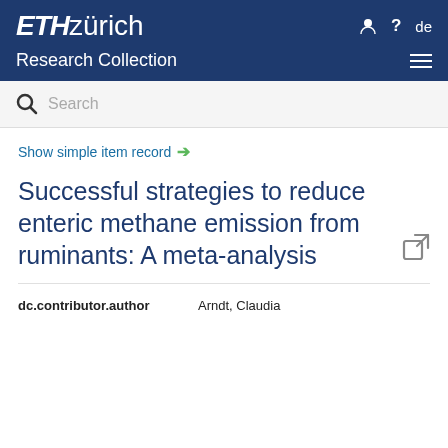[Figure (logo): ETH Zurich Research Collection website header with logo, navigation icons (user, help, language toggle 'de'), search bar, and hamburger menu]
Show simple item record →
Successful strategies to reduce enteric methane emission from ruminants: A meta-analysis
| dc.contributor.author |  |
| --- | --- |
| dc.contributor.author | Arndt, Claudia |